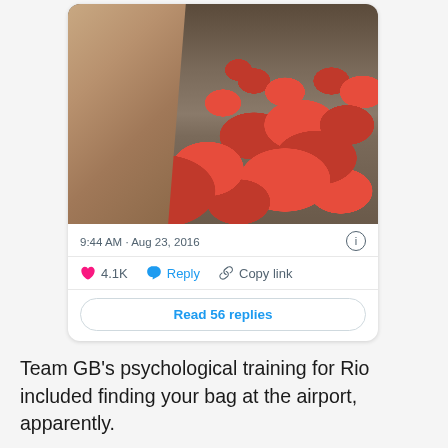[Figure (screenshot): Screenshot of a social media post showing a man taking a selfie at an airport baggage claim area filled with many identical red bags/duffel bags on a carousel and on the floor. The post timestamp reads 9:44 AM · Aug 23, 2016, with 4.1K likes, Reply, Copy link actions, and a 'Read 56 replies' button.]
Team GB's psychological training for Rio included finding your bag at the airport, apparently.